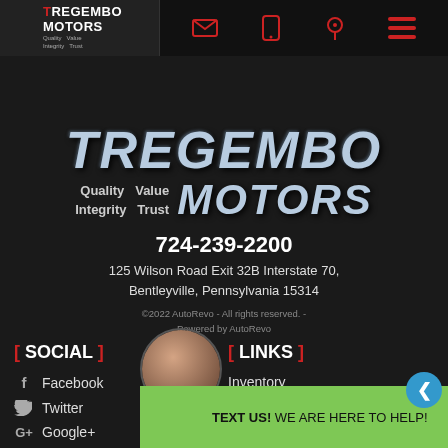[Figure (logo): Tregembo Motors top navigation bar with logo and icons]
[Figure (logo): Tregembo Motors large logo: TREGEMBO MOTORS with Quality Value Integrity Trust tagline]
724-239-2200
125 Wilson Road Exit 32B Interstate 70, Bentleyville, Pennsylvania 15314
©2022 AutoRevo - All rights reserved. - Powered by AutoRevo
[ SOCIAL ]
[ LINKS ]
Facebook
Twitter
Google+
YouTube
Yelp
Inventory
Warranty
Financing
Sell Your Car
Contact Us
[Figure (photo): Chat widget with avatar photo and TEXT US! WE ARE HERE TO HELP! message]